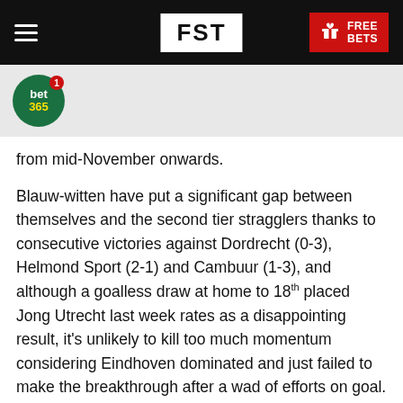FST | FREE BETS
[Figure (logo): bet365 circular green logo with notification badge]
from mid-November onwards.
Blauw-witten have put a significant gap between themselves and the second tier stragglers thanks to consecutive victories against Dordrecht (0-3), Helmond Sport (2-1) and Cambuur (1-3), and although a goalless draw at home to 18th placed Jong Utrecht last week rates as a disappointing result, it's unlikely to kill too much momentum considering Eindhoven dominated and just failed to make the breakthrough after a wad of efforts on goal.
Eindhoven turn out at Jan Louwers Stadion again this Friday, and their clash against RKC could well see